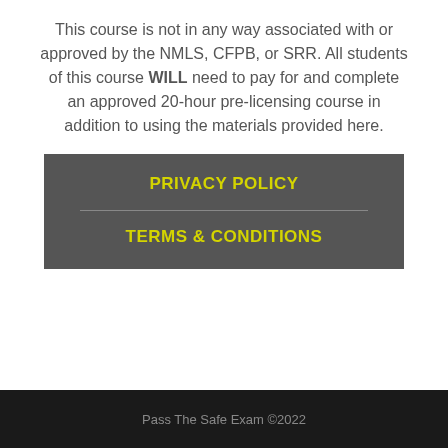This course is not in any way associated with or approved by the NMLS, CFPB, or SRR. All students of this course WILL need to pay for and complete an approved 20-hour pre-licensing course in addition to using the materials provided here.
PRIVACY POLICY
TERMS & CONDITIONS
Pass The Safe Exam ©2022